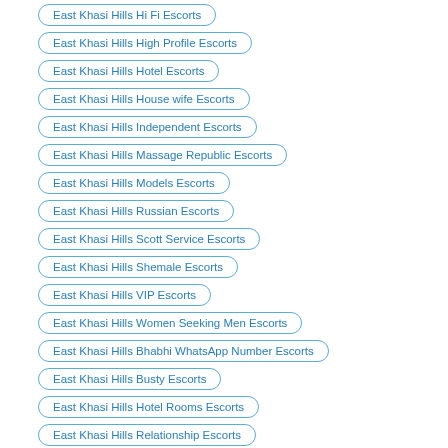East Khasi Hills Hi Fi Escorts
East Khasi Hills High Profile Escorts
East Khasi Hills Hotel Escorts
East Khasi Hills House wife Escorts
East Khasi Hills Independent Escorts
East Khasi Hills Massage Republic Escorts
East Khasi Hills Models Escorts
East Khasi Hills Russian Escorts
East Khasi Hills Scott Service Escorts
East Khasi Hills Shemale Escorts
East Khasi Hills VIP Escorts
East Khasi Hills Women Seeking Men Escorts
East Khasi Hills Bhabhi WhatsApp Number Escorts
East Khasi Hills Busty Escorts
East Khasi Hills Hotel Rooms Escorts
East Khasi Hills Relationship Escorts